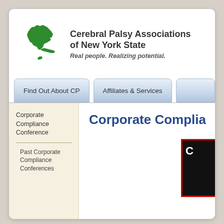[Figure (logo): Green outline map of New York State used as logo icon]
Cerebral Palsy Associations of New York State
Real people. Realizing potential.
Find Out About CP
Affiliates & Services
Corporate Compliance Conference
Past Corporate Compliance Conferences
Corporate Complia